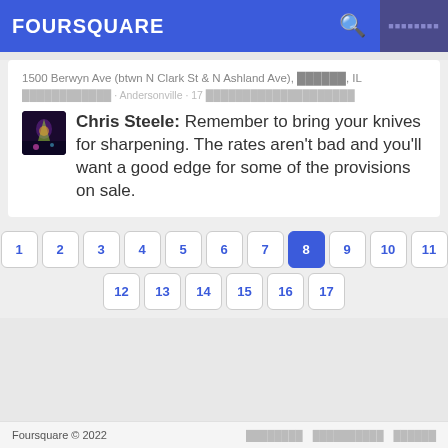FOURSQUARE
1500 Berwyn Ave (btwn N Clark St & N Ashland Ave), ██████, IL
████████████ · Andersonville · 17 ████████████████████
Chris Steele: Remember to bring your knives for sharpening. The rates aren't bad and you'll want a good edge for some of the provisions on sale.
1 2 3 4 5 6 7 8 9 10 11 12 13 14 15 16 17
Foursquare © 2022